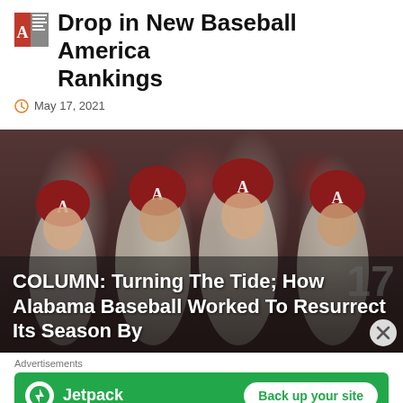Drop in New Baseball America Rankings
May 17, 2021
[Figure (photo): Alabama baseball players in crimson helmets and grey uniforms celebrating in the dugout]
COLUMN: Turning The Tide; How Alabama Baseball Worked To Resurrect Its Season By
Advertisements
[Figure (other): Jetpack advertisement banner with 'Back up your site' button on green background]